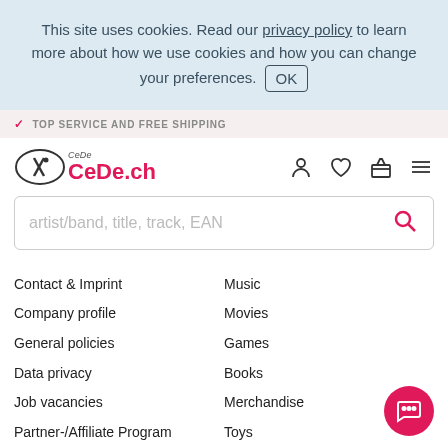This site uses cookies. Read our privacy policy to learn more about how we use cookies and how you can change your preferences. OK
✓ TOP SERVICE AND FREE SHIPPING
[Figure (logo): CeDe.ch logo with oval and exclamation mark]
artist/band, title, track, EAN
Contact & Imprint
Company profile
General policies
Data privacy
Job vacancies
Partner-/Affiliate Program
New registration
Buy CeDe.ch vouchers
Music
Movies
Games
Books
Merchandise
Toys
Equipment
CBD